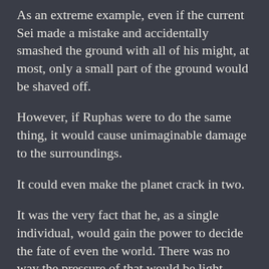As an extreme example, even if the current Sei made a mistake and accidentally smashed the ground with all of his might, at most, only a small part of the ground would be shaved off.
However, if Ruphas were to do the same thing, it would cause unimaginable damage to the surroundings.
It could even make the planet crack in two.
It was the very fact that he, as a single individual, would gain the power to decide the fate of even the world. There was no way the pressure of that would be light. There was no way he could think lightly of it.
If he were to be given that much power… would he be able to use it correctly? Did he have the